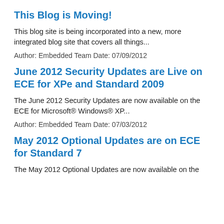This Blog is Moving!
This blog site is being incorporated into a new, more integrated blog site that covers all things...
Author: Embedded Team Date: 07/09/2012
June 2012 Security Updates are Live on ECE for XPe and Standard 2009
The June 2012 Security Updates are now available on the ECE for Microsoft® Windows® XP...
Author: Embedded Team Date: 07/03/2012
May 2012 Optional Updates are on ECE for Standard 7
The May 2012 Optional Updates are now available on the